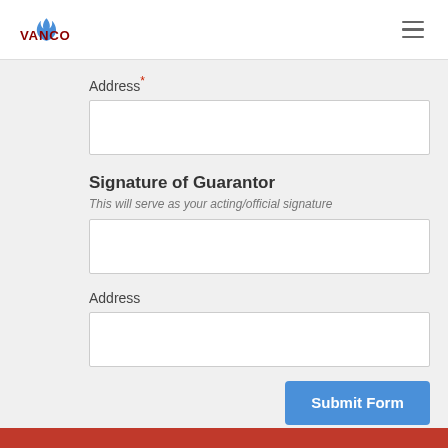VANCO
Address *
Signature of Guarantor
This will serve as your acting/official signature
Address
Submit Form